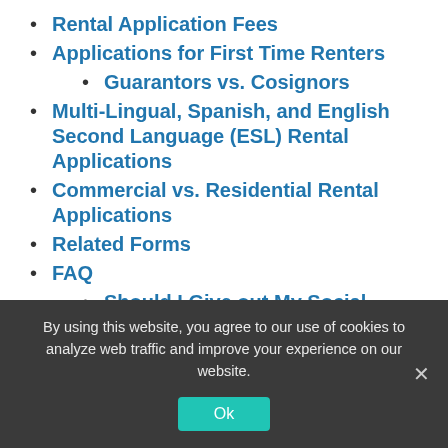Rental Application Fees
Applications for First Time Renters
Guarantors vs. Cosignors
Multi-Lingual, Spanish, and English Second Language (ESL) Rental Applications
Commercial vs. Residential Rental Applications
Related Forms
FAQ
Should I Give out My Social Security Number on a Rental Application?
Can a Rental Application Ask for Bank
By using this website, you agree to our use of cookies to analyze web traffic and improve your experience on our website.